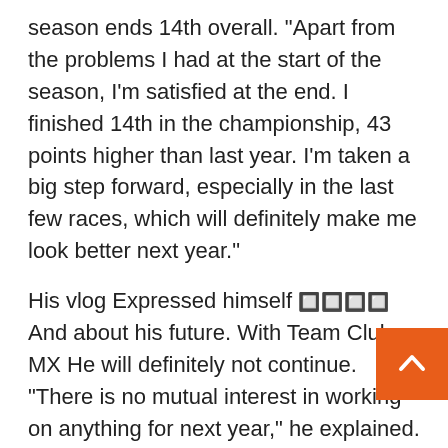season ends 14th overall. "Apart from the problems I had at the start of the season, I'm satisfied at the end. I finished 14th in the championship, 43 points higher than last year. I'm taken a big step forward, especially in the last few races, which will definitely make me look better next year."
His vlog Expressed himself [emoji] And about his future. With Team Club MX He will definitely not continue. "There is no mutual interest in working on anything for next year," he explained. "But things are still going on in the United States. I still do not know how, what, but it certainly is happening [emoji] Confident.
Travel in June [emoji] On the way from America to Europe. It takes place on June 25 in Hesse MacBo The 'Riders Day' instead. Next [emoji] Tom and Tim Koch will also attend. Are in training Motocrosser From all